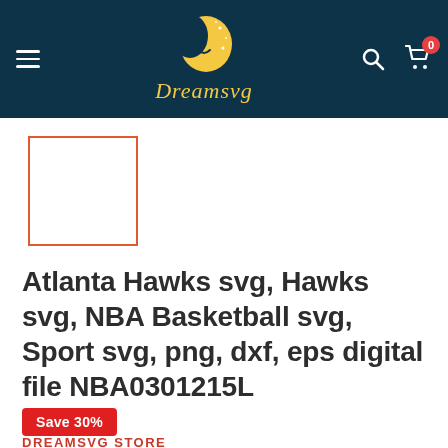Dreamsvg
[Figure (logo): Dreamsvg logo with crescent moon face and yellow text on dark teal background]
[Figure (photo): Product thumbnail placeholder with orange/red border outline]
Atlanta Hawks svg, Hawks svg, NBA Basketball svg, Sport svg, png, dxf, eps digital file NBA0301215L
Save 30%
DREAMSVG STORE